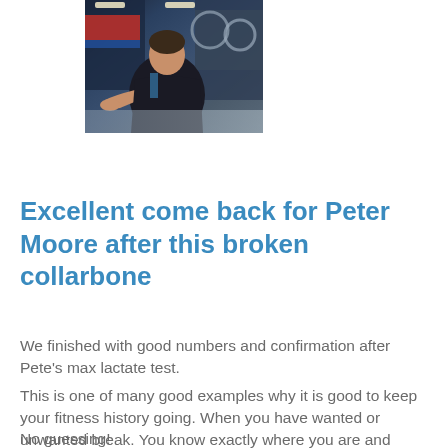[Figure (photo): Photo of a man in a dark cycling jersey leaning over in what appears to be a sports or cycling shop environment]
Excellent come back for Peter Moore after this broken collarbone
We finished with good numbers and confirmation after Pete's max lactate test.
This is one of many good examples why it is good to keep your fitness history going. When you have wanted or unwanted break. You know exactly where you are and what's going on.
No guessing!